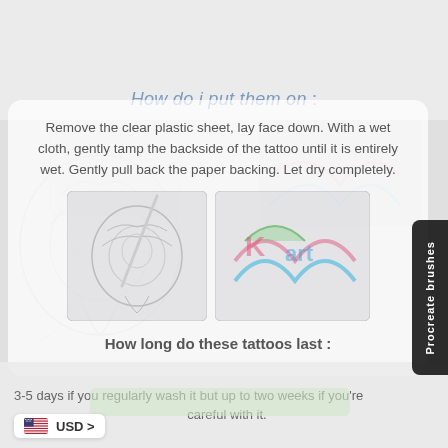How do i put them on :
Remove the clear plastic sheet, lay face down. With a wet cloth, gently tamp the backside of the tattoo until it is entirely wet. Gently pull back the paper backing. Let dry completely.
[Figure (photo): Background images of tattoo art and digital drawing tools, faded/ghosted behind the content overlay]
How long do these tattoos last :
3-5 days if you regularly wash it but up to two weeks if you're careful with it.